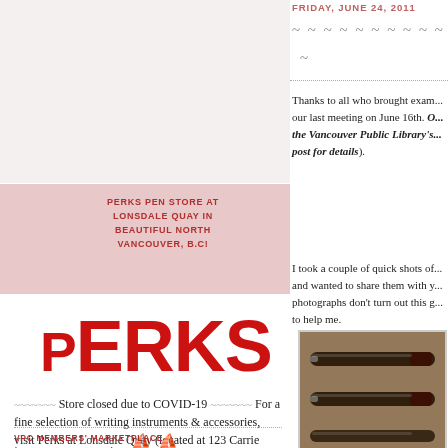FRIDAY, JUNE 24, 2011
~ ~ ~ ~ ~ ~ ~ ~ ~ ~
~
Thanks to all who brought examples to our last meeting on June 16th. Our... (the Vancouver Public Library's ... post for details).
I took a couple of quick shots of... and wanted to share them with you... photographs don't turn out this g... to help me.
PERKS PEN STORE AT LONSDALE QUAY IN BEAUTIFUL NORTH VANCOUVER, B.C!
[Figure (logo): PERKS logo in large bold red text]
~~~~~~~ Store closed due to COVID-19 ~~~~~~~ For a fine selection of writing instruments & accessories, visit Perks at Lonsdale Quay (located at 123 Carrie Cates Court, North Vancouver, BC)
VPC MEMBERS' MARKETPLACE (PENS, INKS, PAPER)
[Figure (photo): Close-up photograph of fountain pens on a brown/tan surface]